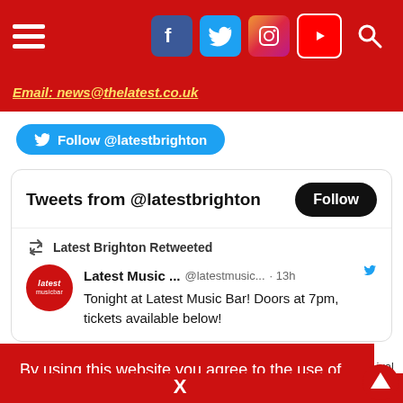Navigation bar with hamburger menu and social icons (Facebook, Twitter, Instagram, YouTube, Search)
Email: news@thelatest.co.uk
Follow @latestbrighton
Tweets from @latestbrighton
Latest Brighton Retweeted
Latest Music ... @latestmusic... · 13h
Tonight at Latest Music Bar! Doors at 7pm, tickets available below!
By using this website you agree to the use of cookies  Learn more
X
tomorrow on thelatest.co.uk/latest-tw/ or Channel 4 / Mix 4 PM